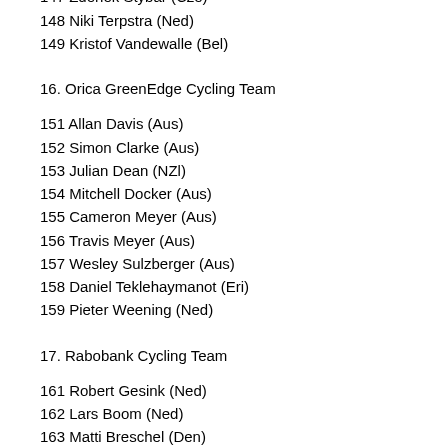146 Gert Steegmans (Bel)
147 Zdenek Stybar (Cze)
148 Niki Terpstra (Ned)
149 Kristof Vandewalle (Bel)
16. Orica GreenEdge Cycling Team
151 Allan Davis (Aus)
152 Simon Clarke (Aus)
153 Julian Dean (NZl)
154 Mitchell Docker (Aus)
155 Cameron Meyer (Aus)
156 Travis Meyer (Aus)
157 Wesley Sulzberger (Aus)
158 Daniel Teklehaymanot (Eri)
159 Pieter Weening (Ned)
17. Rabobank Cycling Team
161 Robert Gesink (Ned)
162 Lars Boom (Ned)
163 Matti Breschel (Den)
164 Stef Clement (Ned)
165 Juan Manuel Gárate Cepa (Spa)
166 Bauke Mollema (Ned)
167 Grischa Niermann (Ger)
168 Laurens ten Dam (Ned)
169 Dennis van Winden (Ned)
18. RadioShack-Nissan